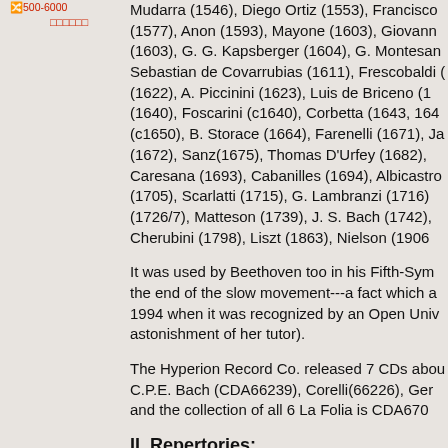1500-6000 ооооооо
Mudarra (1546), Diego Ortiz (1553), Francisco (1577), Anon (1593), Mayone (1603), Giovanni (1603), G. G. Kapsberger (1604), G. Montesaro, Sebastian de Covarrubias (1611), Frescobaldi (1622), A. Piccinini (1623), Luis de Briceno (1 (1640), Foscarini (c1640), Corbetta (1643, 164 (c1650), B. Storace (1664), Farenelli (1671), Ja (1672), Sanz(1675), Thomas D'Urfey (1682), Caresana (1693), Cabanilles (1694), Albicastro (1705), Scarlatti (1715), G. Lambranzi (1716) (1726/7), Matteson (1739), J. S. Bach (1742), Cherubini (1798), Liszt (1863), Nielson (1906
It was used by Beethoven too in his Fifth-Symphony at the end of the slow movement---a fact which a 1994 when it was recognized by an Open University astonishment of her tutor).
The Hyperion Record Co. released 7 CDs about C.P.E. Bach (CDA66239), Corelli(66226), Ger and the collection of all 6 La Folia is CDA670
II. Repertories: